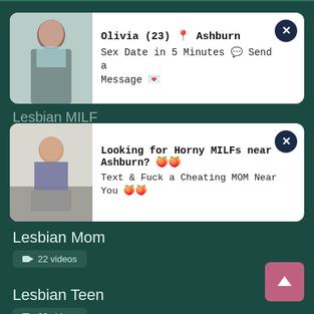[Figure (photo): Ad card with woman photo - Olivia (23) from Ashburn]
Olivia (23) 📍 Ashburn
Sex Date in 5 Minutes 💬 Send a Message 💌
[Figure (photo): Ad card with woman photo - Looking for Horny MILFs near Ashburn]
Looking for Horny MILFs near Ashburn? 🍑🍑
Text & Fuck a Cheating MOM Near You 🍑🍑
Lesbian Mom
📹 22 videos
Lesbian Teen
📹 22 videos
Lesbians